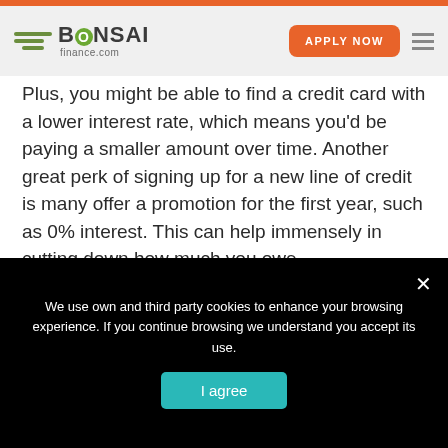[Figure (logo): Bonsai finance.com logo with green circular O and horizontal lines icon]
Plus, you might be able to find a credit card with a lower interest rate, which means you'd be paying a smaller amount over time. Another great perk of signing up for a new line of credit is many offer a promotion for the first year, such as 0% interest. This can help immensely in cutting down how much you owe.
We use own and third party cookies to enhance your browsing experience. If you continue browsing we understand you accept its use.